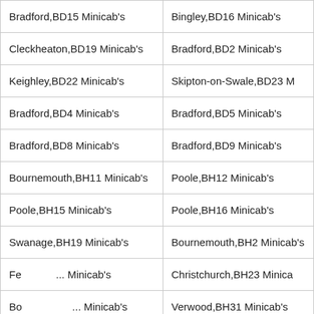| Bradford,BD15 Minicab's | Bingley,BD16 Minicab's |
| Cleckheaton,BD19 Minicab's | Bradford,BD2 Minicab's |
| Keighley,BD22 Minicab's | Skipton-on-Swale,BD23 M |
| Bradford,BD4 Minicab's | Bradford,BD5 Minicab's |
| Bradford,BD8 Minicab's | Bradford,BD9 Minicab's |
| Bournemouth,BH11 Minicab's | Poole,BH12 Minicab's |
| Poole,BH15 Minicab's | Poole,BH16 Minicab's |
| Swanage,BH19 Minicab's | Bournemouth,BH2 Minicab's |
| Ferndown,BH... Minicab's | Christchurch,BH23 Minicab's |
| Bournemouth,BH... Minicab's | Verwood,BH31 Minicab's |
| Bournemouth,BH... Minicab's | Bournemouth,BH7 Minicab's |
| Bury,BL0 Minicab's | Bolton,BL1 Minicab's |
| Bolton,BL4 Minicab's | Bolton,BL5 Minicab's |